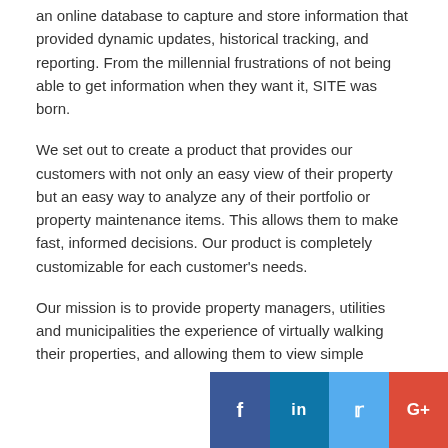an online database to capture and store information that provided dynamic updates, historical tracking, and reporting. From the millennial frustrations of not being able to get information when they want it, SITE was born.
We set out to create a product that provides our customers with not only an easy view of their property but an easy way to analyze any of their portfolio or property maintenance items. This allows them to make fast, informed decisions. Our product is completely customizable for each customer's needs.
Our mission is to provide property managers, utilities and municipalities the experience of virtually walking their properties, and allowing them to view simple analytics, from anywhere in the world.
Key Facts
Website